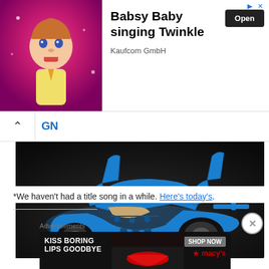[Figure (screenshot): Top advertisement banner showing a cartoon baby on a pink background with text 'Babsy Baby singing Twinkle' by Kaufcom GmbH with an Open button]
[Figure (photo): Blue LEGO Technic car model with doors open, photographed on dark background, shown within a website page with navigation bar showing 'GN' logo]
*We haven't had a title song in a while. Here's today's.
[Figure (screenshot): Bottom advertisement showing 'KISS BORING LIPS GOODBYE' with 'SHOP NOW' button and Macy's logo on dark background]